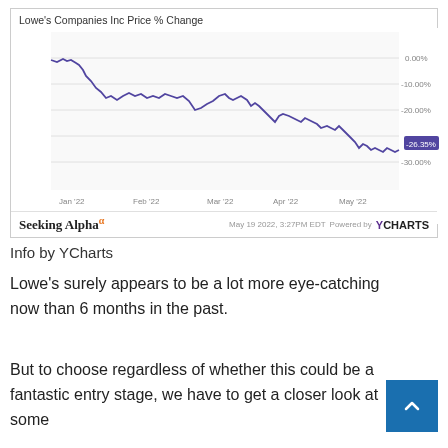[Figure (continuous-plot): Line chart showing Lowe's Companies Inc stock price % change from Jan '22 to May '22, ending at -26.35%. The line trends downward overall from near 0% in early January to -26.35% by mid-May 2022.]
Info by YCharts
Lowe's surely appears to be a lot more eye-catching now than 6 months in the past.
But to choose regardless of whether this could be a fantastic entry stage, we have to get a closer look at some